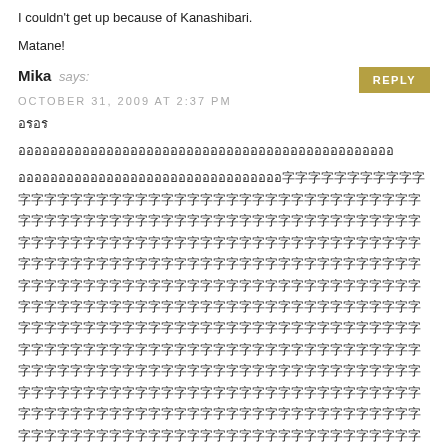I couldn't get up because of Kanashibari.
Matane!
Mika says: OCTOBER 31, 2009 AT 2:37 PM
อรอร (Japanese/Thai text block comment by Mika)
🅱appy   halloween🅱
Maggie says: OCTOBER 31, 2009 AT 10:15 PM
Mika-san,
(Japanese text) igai = unexpected)